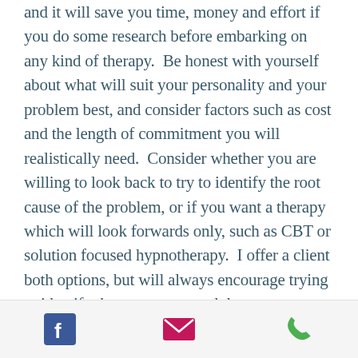and it will save you time, money and effort if you do some research before embarking on any kind of therapy.  Be honest with yourself about what will suit your personality and your problem best, and consider factors such as cost and the length of commitment you will realistically need.  Consider whether you are willing to look back to try to identify the root cause of the problem, or if you want a therapy which will look forwards only, such as CBT or solution focused hypnotherapy.  I offer a client both options, but will always encourage trying to identify the root cause, and then move forwards once that has been dealt with.
[Figure (infographic): Footer bar with three icons: Facebook (blue square with white F), Email (pink envelope), Phone (green handset)]